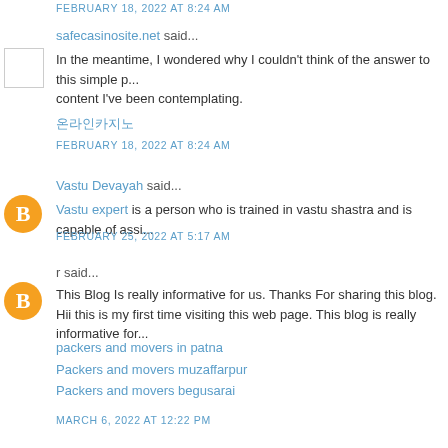FEBRUARY 18, 2022 AT 8:24 AM (truncated at top)
safecasinosite.net said...
In the meantime, I wondered why I couldn't think of the answer to this simple p... content I've been contemplating.
온라인카지노
FEBRUARY 18, 2022 AT 8:24 AM
Vastu Devayah said...
Vastu expert is a person who is trained in vastu shastra and is capable of assi...
FEBRUARY 25, 2022 AT 5:17 AM
r said...
This Blog Is really informative for us. Thanks For sharing this blog. Hii this is my first time visiting this web page. This blog is really informative for...
packers and movers in patna
Packers and movers muzaffarpur
Packers and movers begusarai
MARCH 6, 2022 AT 12:22 PM